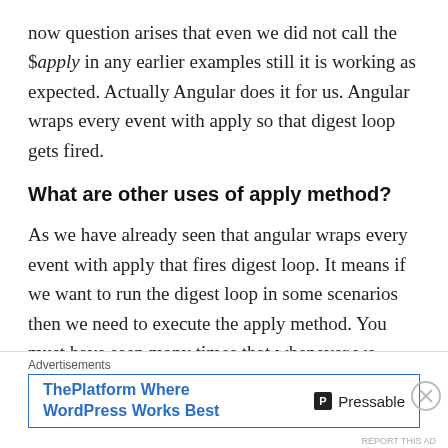now question arises that even we did not call the $apply in any earlier examples still it is working as expected. Actually Angular does it for us. Angular wraps every event with apply so that digest loop gets fired.
What are other uses of apply method?
As we have already seen that angular wraps every event with apply that fires digest loop. It means if we want to run the digest loop in some scenarios then we need to execute the apply method. You must have seen many times that whenever we make some changes using
[Figure (other): Advertisement banner: ThePlatform Where WordPress Works Best - Pressable]